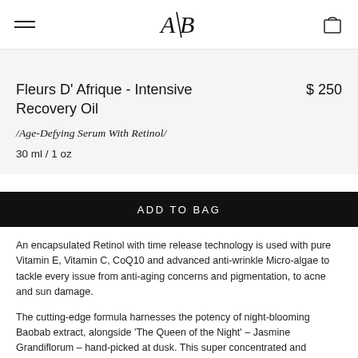A/B (logo), hamburger menu, shopping bag icon
Fleurs D' Afrique - Intensive Recovery Oil
$ 250
/Age-Defying Serum With Retinol/
30 ml / 1 oz
ADD TO BAG
An encapsulated Retinol with time release technology is used with pure Vitamin E, Vitamin C, CoQ10 and advanced anti-wrinkle Micro-algae to tackle every issue from anti-aging concerns and pigmentation, to acne and sun damage.
The cutting-edge formula harnesses the potency of night-blooming Baobab extract, alongside 'The Queen of the Night' – Jasmine Grandiflorum – hand-picked at dusk. This super concentrated and